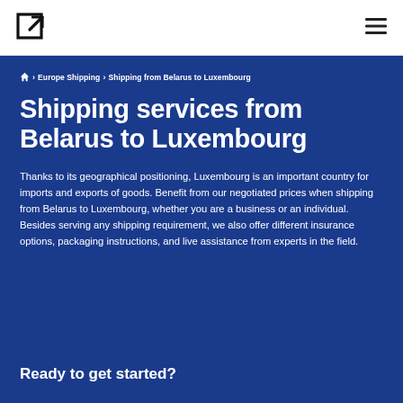🏠 › Europe Shipping › Shipping from Belarus to Luxembourg
Shipping services from Belarus to Luxembourg
Thanks to its geographical positioning, Luxembourg is an important country for imports and exports of goods. Benefit from our negotiated prices when shipping from Belarus to Luxembourg, whether you are a business or an individual. Besides serving any shipping requirement, we also offer different insurance options, packaging instructions, and live assistance from experts in the field.
Ready to get started?